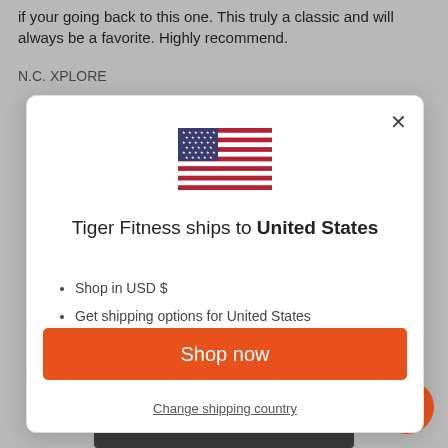if your going back to this one. This truly a classic and will always be a favorite. Highly recommend.
N.C. XPLORE
[Figure (screenshot): Modal dialog showing US flag, 'Tiger Fitness ships to United States', bullet points about USD and shipping options, orange 'Shop now' button, and 'Change shipping country' link]
Load More Reviews